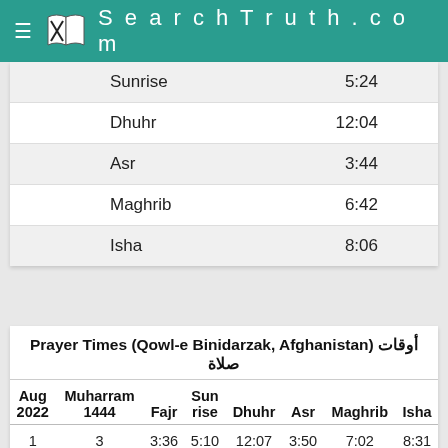SearchTruth.com
| Prayer | Time |
| --- | --- |
| Sunrise | 5:24 |
| Dhuhr | 12:04 |
| Asr | 3:44 |
| Maghrib | 6:42 |
| Isha | 8:06 |
Prayer Times (Qowl-e Binidarzak, Afghanistan) أوقات صلاة
| Aug 2022 | Muharram 1444 | Fajr | Sunrise | Dhuhr | Asr | Maghrib | Isha |
| --- | --- | --- | --- | --- | --- | --- | --- |
| 1 | 3 | 3:36 | 5:10 | 12:07 | 3:50 | 7:02 | 8:31 |